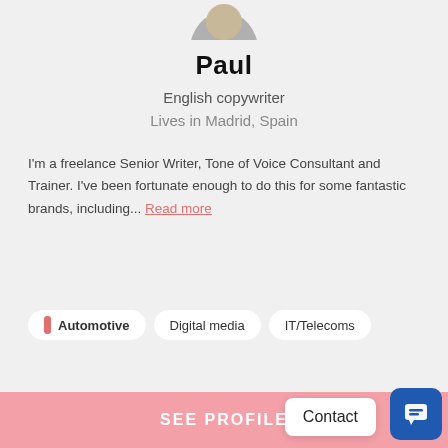[Figure (photo): Partial profile photo of Paul, cropped at top of page]
Paul
English copywriter
Lives in Madrid, Spain
I'm a freelance Senior Writer, Tone of Voice Consultant and Trainer. I've been fortunate enough to do this for some fantastic brands, including... Read more
Automotive
Digital media
IT/Telecoms
SEE PROFILE
Contact